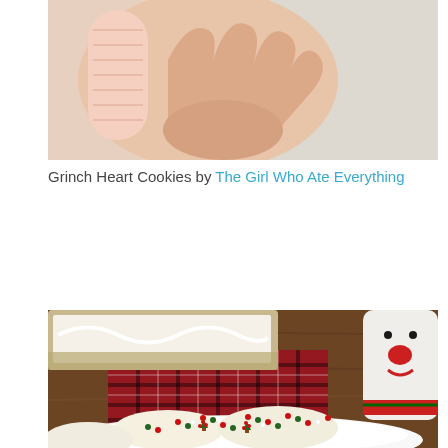[Figure (photo): Close-up photo of a hand holding a pink/white ridged cookie or candy, with a light background]
Grinch Heart Cookies by The Girl Who Ate Everything
[Figure (photo): Photo of white-frosted sugar cookies decorated with red and green sprinkle Christmas trees on a white plate, with a plaid cloth, baking dish with white frosting, and a snowman mug in the background on a wooden surface]